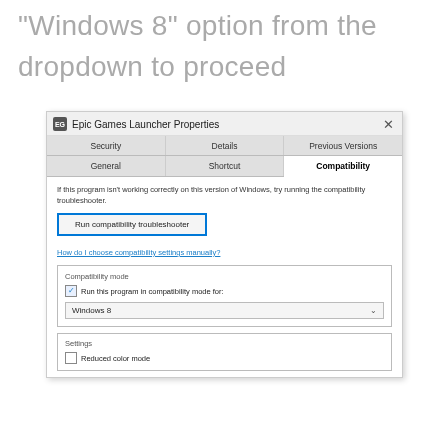"Windows 8" option from the dropdown to proceed
[Figure (screenshot): Windows dialog box showing 'Epic Games Launcher Properties' with tabs: Security, Details, Previous Versions, General, Shortcut, Compatibility (active). Content shows: info text about compatibility troubleshooter, 'Run compatibility troubleshooter' button, a link 'How do I choose compatibility settings manually?', a 'Compatibility mode' section with checked checkbox 'Run this program in compatibility mode for:' and a dropdown showing 'Windows 8', and a 'Settings' section with unchecked 'Reduced color mode' checkbox.]